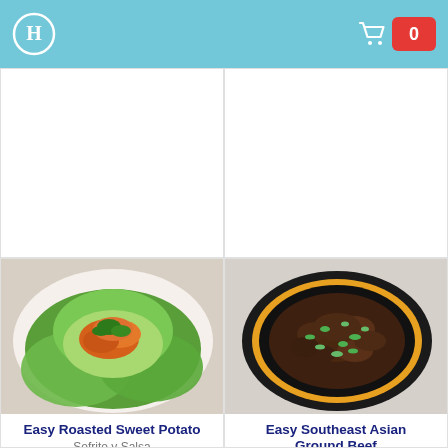Header bar with logo and cart (0 items)
[Figure (photo): Top-left card: blank white image placeholder]
[Figure (photo): Top-right card: blank white image placeholder]
[Figure (photo): Bottom-left card: photo of Easy Roasted Sweet Potato in a butter lettuce wrap on a white plate, garnished with cilantro]
Easy Roasted Sweet Potato
Sofrito y Salsa
[Figure (photo): Bottom-right card: photo of Easy Southeast Asian Ground Beef in a dark bowl with yellow rim, topped with sliced green onions]
Easy Southeast Asian Ground Beef
Sofrito y Salsa